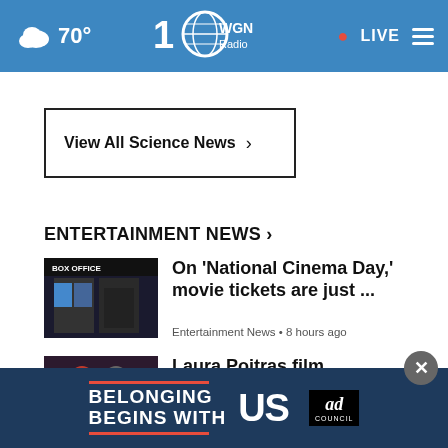70° WGN Radio • LIVE
View All Science News ›
ENTERTAINMENT NEWS ›
[Figure (photo): Box office cinema entrance at night]
On 'National Cinema Day,' movie tickets are just ...
Entertainment News • 8 hours ago
[Figure (photo): Two women posing at a film event]
Laura Poitras film spotlights activist photographer ...
Entertainment News • 14 hours ago
[Figure (photo): Texas Chainsaw Copyright article thumbnail]
The Texas Chainsaw Copyright Infringement? Business ...
[Figure (infographic): Ad Council Belonging Begins With Us advertisement banner]